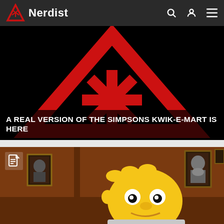Nerdist
[Figure (screenshot): Nerdist logo on black background - red triangle with asterisk symbol, article thumbnail for Kwik-E-Mart story]
A REAL VERSION OF THE SIMPSONS KWIK-E-MART IS HERE
[Figure (screenshot): Homer Simpson peeking around a corner in a brown-walled room with framed pictures on the wall]